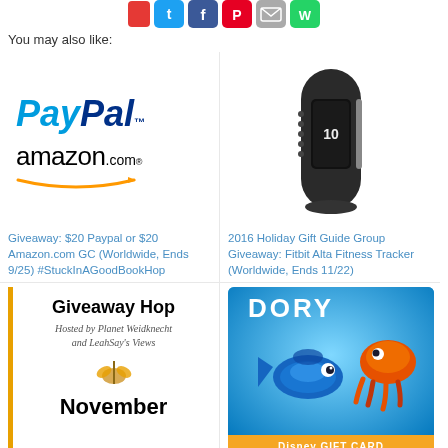[Figure (illustration): Social sharing buttons: Twitter (blue), Facebook (dark blue), Pinterest (red), Email (gray), WhatsApp (green)]
You may also like:
[Figure (logo): PayPal logo and amazon.com logo stacked]
Giveaway: $20 Paypal or $20 Amazon.com GC (Worldwide, Ends 9/25) #StuckInAGoodBookHop
[Figure (photo): Fitbit Alta fitness tracker wristband in black]
2016 Holiday Gift Guide Group Giveaway: Fitbit Alta Fitness Tracker (Worldwide, Ends 11/22)
[Figure (illustration): Giveaway Hop flyer with gold left border, hosted by Planet Weidknecht and LeahSay's Views, November]
Giveaway: $25 Paypal Cash or $25 Amazon GC
[Figure (illustration): Finding Dory Disney Gift Card with Dory and Hank characters on blue ocean background]
Giveaway: $25 Disney Gift Card or $25 Paypal Cash